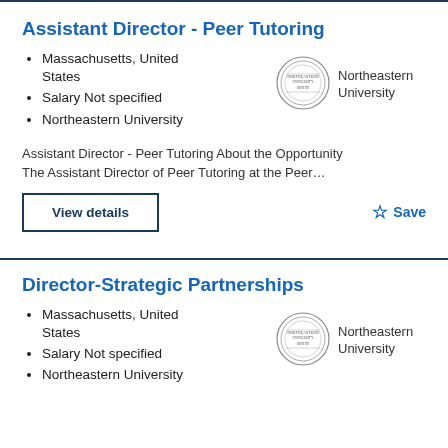Assistant Director - Peer Tutoring
Massachusetts, United States
Salary Not specified
Northeastern University
[Figure (logo): Northeastern University seal/logo]
Assistant Director - Peer Tutoring About the Opportunity The Assistant Director of Peer Tutoring at the Peer…
Director-Strategic Partnerships
Massachusetts, United States
Salary Not specified
Northeastern University
[Figure (logo): Northeastern University seal/logo]